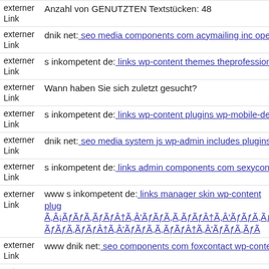externer Link | Anzahl von GENUTZTEN Textstücken: 48
externer Link | dnik net: seo media components com acymailing inc openfl
externer Link | s inkompetent de: links wp-content themes theprofessional
externer Link | Wann haben Sie sich zuletzt gesucht?
externer Link | s inkompetent de: links wp-content plugins wp-mobile-dete
externer Link | dnik net: seo media system js wp-admin includes plugins co
externer Link | s inkompetent de: links admin components com sexycontac
externer Link | www s inkompetent de: links manager skin wp-content plug Ã,Â¡ÃƒÂƒÃ,ÃƒÃƒÂ†Ã,Â'ÃƒÂƒÃ,Ã,ÃƒÃƒÂ†Ã,Â'ÃƒÂƒÃ,ÃƒÃƒÂƒÃ,ÃƒÃƒÂ†Ã,Â'ÃƒÂƒÃ,Ã,ÃƒÃƒÂ†Ã,Â'ÃƒÂƒÃ,ÃƒÃ
externer Link | www dnik net: seo components com foxcontact wp-content
externer Link | s inkompetent de: links administration modules php
externer Link | s inkompetent de: links netcat admin skin skin app etc doe